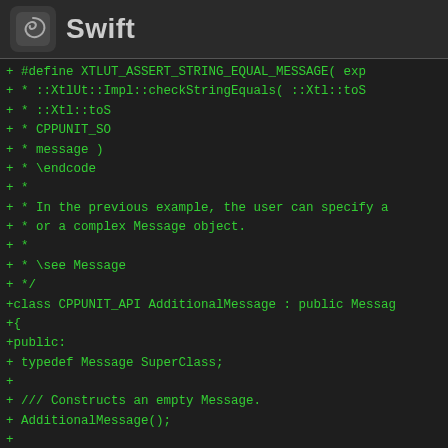Swift
+ #define XTLUT_ASSERT_STRING_EQUAL_MESSAGE( exp
+ * ::XtlUt::Impl::checkStringEquals( ::Xtl::toS
+ * ::Xtl::toS
+ * CPPUNIT_SO
+ * message )
+ * \endcode
+ *
+ * In the previous example, the user can specify a
+ * or a complex Message object.
+ *
+ * \see Message
+ */
+class CPPUNIT_API AdditionalMessage : public Messag
+{
+public:
+  typedef Message SuperClass;
+
+  /// Constructs an empty Message.
+  AdditionalMessage();
+